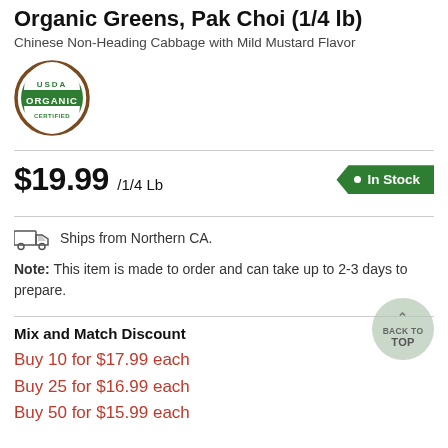Organic Greens, Pak Choi (1/4 lb)
Chinese Non-Heading Cabbage with Mild Mustard Flavor
[Figure (logo): USDA Organic circular logo with green text and brown border]
$19.99 /1/4 Lb   • In Stock
Ships from Northern CA.
Note: This item is made to order and can take up to 2-3 days to prepare.
Mix and Match Discount
Buy 10 for $17.99 each
Buy 25 for $16.99 each
Buy 50 for $15.99 each